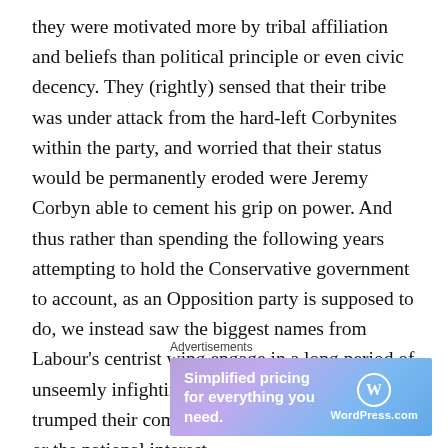they were motivated more by tribal affiliation and beliefs than political principle or even civic decency. They (rightly) sensed that their tribe was under attack from the hard-left Corbynites within the party, and worried that their status would be permanently eroded were Jeremy Corbyn able to cement his grip on power. And thus rather than spending the following years attempting to hold the Conservative government to account, as an Opposition party is supposed to do, we instead saw the biggest names from Labour's centrist wing engage in a long period of unseemly infighting – because political tribalism trumped their commitment to either party unity or the national interest.
Advertisements
[Figure (other): WordPress.com advertisement banner with gradient background (purple to blue). Text reads: 'Simplified pricing for everything you need.' with WordPress.com logo on the right.]